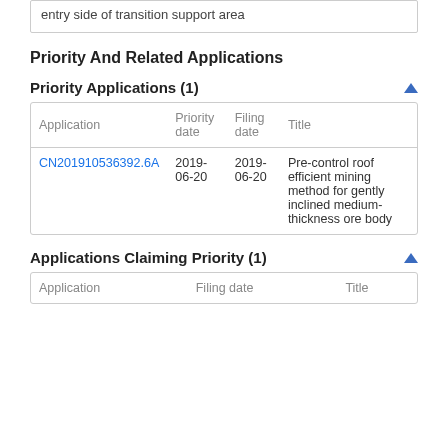|  |  |
| --- | --- |
|  | entry side of transition support area |
Priority And Related Applications
Priority Applications (1)
| Application | Priority date | Filing date | Title |
| --- | --- | --- | --- |
| CN201910536392.6A | 2019-06-20 | 2019-06-20 | Pre-control roof efficient mining method for gently inclined medium-thickness ore body |
Applications Claiming Priority (1)
| Application | Filing date | Title |
| --- | --- | --- |